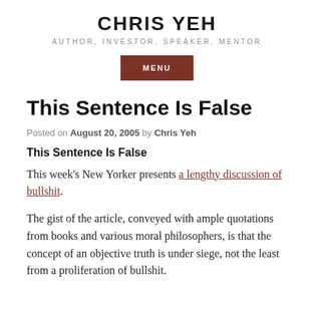CHRIS YEH
AUTHOR, INVESTOR, SPEAKER, MENTOR
MENU
This Sentence Is False
Posted on August 20, 2005 by Chris Yeh
This Sentence Is False
This week's New Yorker presents a lengthy discussion of bullshit.
The gist of the article, conveyed with ample quotations from books and various moral philosophers, is that the concept of an objective truth is under siege, not the least from a proliferation of bullshit.